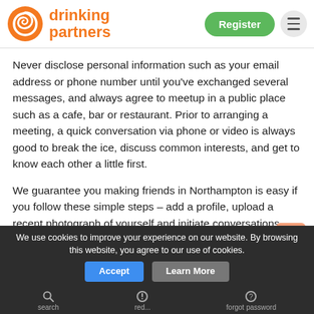drinking partners
Never disclose personal information such as your email address or phone number until you've exchanged several messages, and always agree to meetup in a public place such as a cafe, bar or restaurant. Prior to arranging a meeting, a quick conversation via phone or video is always good to break the ice, discuss common interests, and get to know each other a little first.
We guarantee you making friends in Northampton is easy if you follow these simple steps – add a profile, upload a recent photograph of yourself and initiate conversations with as many compatible people as you can.
We use cookies to improve your experience on our website. By browsing this website, you agree to our use of cookies.